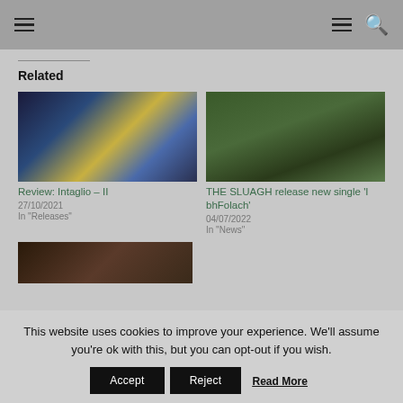Navigation header with hamburger menu and search icon
Related
[Figure (photo): Album art for Intaglio II showing cosmic nebula imagery with blues, oranges and golds]
Review: Intaglio – II
27/10/2021
In "Releases"
[Figure (photo): Band photo of THE SLUAGH in a woodland setting, group crouching among trees]
THE SLUAGH release new single 'I bhFolach'
04/07/2022
In "News"
[Figure (photo): Partially visible image showing a face, third related article thumbnail]
This website uses cookies to improve your experience. We'll assume you're ok with this, but you can opt-out if you wish.
Accept | Reject | Read More